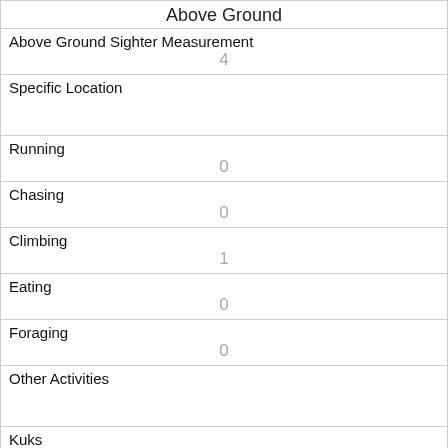Above Ground
| Above Ground Sighter Measurement | 4 |
| Specific Location |  |
| Running | 0 |
| Chasing | 0 |
| Climbing | 1 |
| Eating | 0 |
| Foraging | 0 |
| Other Activities |  |
| Kuks | 0 |
| Quaas | 0 |